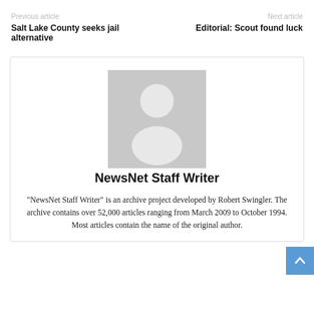Previous article
Next article
Salt Lake County seeks jail alternative
Editorial: Scout found luck
[Figure (illustration): Generic user/person avatar placeholder image — grey silhouette of a person on grey background]
NewsNet Staff Writer
"NewsNet Staff Writer" is an archive project developed by Robert Swingler. The archive contains over 52,000 articles ranging from March 2009 to October 1994. Most articles contain the name of the original author.